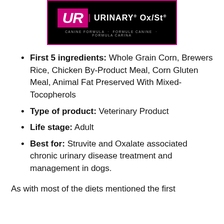[Figure (logo): UR Urinary Ox/St Canine Formula product logo on black background with pink/magenta branding]
First 5 ingredients: Whole Grain Corn, Brewers Rice, Chicken By-Product Meal, Corn Gluten Meal, Animal Fat Preserved With Mixed-Tocopherols
Type of product: Veterinary Product
Life stage: Adult
Best for: Struvite and Oxalate associated chronic urinary disease treatment and management in dogs.
As with most of the diets mentioned the first